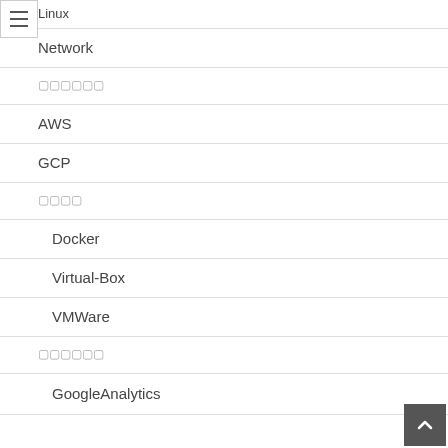Linux
Network
□□□□□□
AWS
GCP
□□□□
Docker
Virtual-Box
VMWare
□□□□□□
GoogleAnalytics